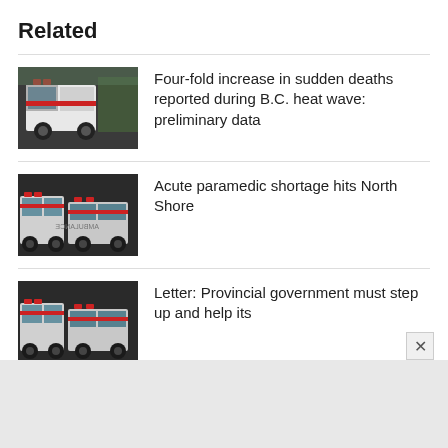Related
[Figure (photo): Ambulance vehicle parked, side view with emergency lights visible]
Four-fold increase in sudden deaths reported during B.C. heat wave: preliminary data
[Figure (photo): Multiple ambulances lined up, front view]
Acute paramedic shortage hits North Shore
[Figure (photo): Multiple ambulances lined up, front view]
Letter: Provincial government must step up and help its